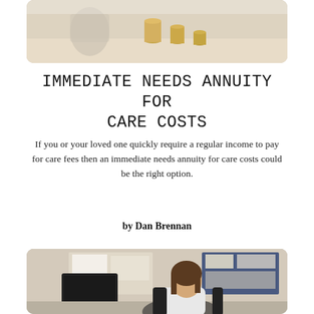[Figure (photo): Photo of coins/savings jar on a desk, cropped at top]
IMMEDIATE NEEDS ANNUITY FOR CARE COSTS
If you or your loved one quickly require a regular income to pay for care fees then an immediate needs annuity for care costs could be the right option.
by Dan Brennan
[Figure (photo): Photo of a woman sitting at a desk working at a computer in an office environment]